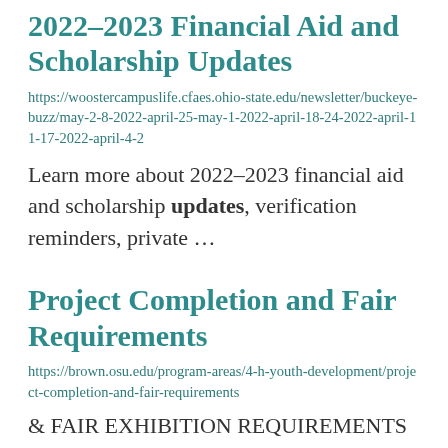2022-2023 Financial Aid and Scholarship Updates
https://woostercampuslife.cfaes.ohio-state.edu/newsletter/buckeye-buzz/may-2-8-2022-april-25-may-1-2022-april-18-24-2022-april-11-17-2022-april-4-2
Learn more about 2022-2023 financial aid and scholarship updates, verification reminders, private ...
Project Completion and Fair Requirements
https://brown.osu.edu/program-areas/4-h-youth-development/project-completion-and-fair-requirements
& FAIR EXHIBITION REQUIREMENTS for 2022. The project requirements document